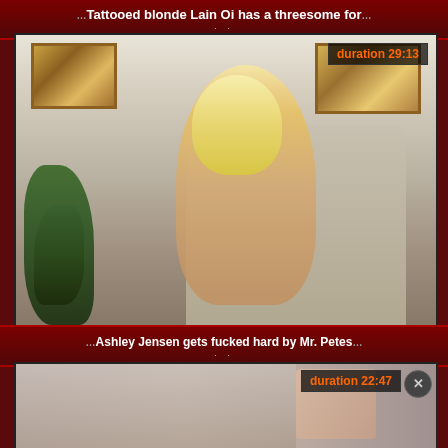..Tattooed blonde Lain Oi has a threesome for
[Figure (photo): Thumbnail image of a blonde woman on a couch with a man, indoor setting with plants and paintings on wall. Duration badge shows 29:13]
..Ashley Jensen gets fucked hard by Mr. Petes
[Figure (photo): Partial thumbnail of another video, partially obscured. Duration badge shows 22:47 with a close/X button]